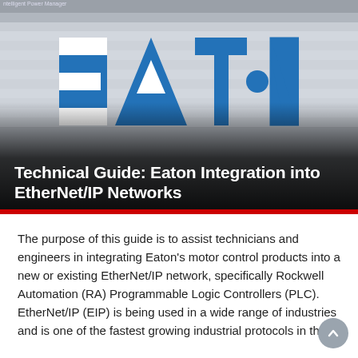[Figure (screenshot): Eaton Intelligent Power Manager software UI screenshot with the Eaton logo overlaid on top, fading into a dark gradient at the bottom. A red accent bar runs across the bottom of the image.]
Technical Guide: Eaton Integration into EtherNet/IP Networks
The purpose of this guide is to assist technicians and engineers in integrating Eaton's motor control products into a new or existing EtherNet/IP network, specifically Rockwell Automation (RA) Programmable Logic Controllers (PLC). EtherNet/IP (EIP) is being used in a wide range of industries and is one of the fastest growing industrial protocols in the